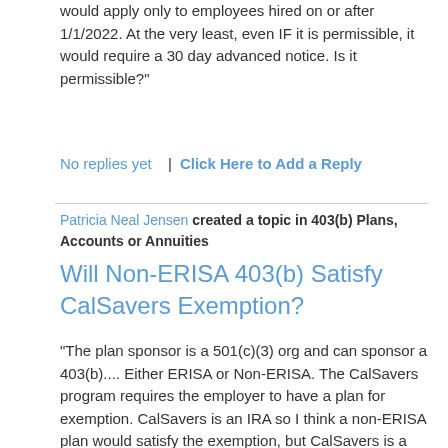would apply only to employees hired on or after 1/1/2022. At the very least, even IF it is permissible, it would require a 30 day advanced notice. Is it permissible?"
No replies yet  |  Click Here to Add a Reply
Patricia Neal Jensen created a topic in 403(b) Plans, Accounts or Annuities
Will Non-ERISA 403(b) Satisfy CalSavers Exemption?
"The plan sponsor is a 501(c)(3) org and can sponsor a 403(b).... Either ERISA or Non-ERISA. The CalSavers program requires the employer to have a plan for exemption. CalSavers is an IRA so I think a non-ERISA plan would satisfy the exemption, but CalSavers is a little vague about this. Any knowledge or opinions on this subject?"